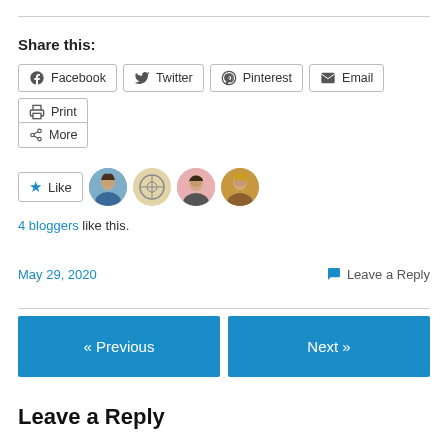Share this:
Facebook  Twitter  Pinterest  Email  Print
More
Like  [avatars]  4 bloggers like this.
May 29, 2020   Leave a Reply
« Previous   Next »
Leave a Reply